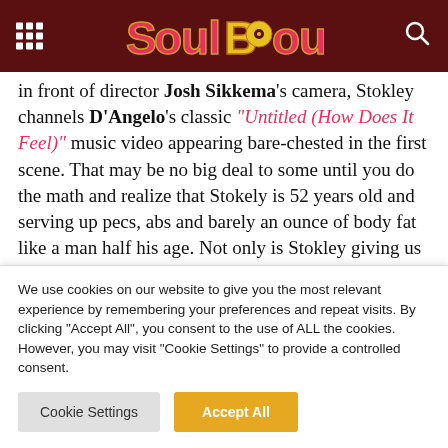SoulBounce
in front of director Josh Sikkema's camera, Stokley channels D'Angelo's classic "Untitled (How Does It Feel)" music video appearing bare-chested in the first scene. That may be no big deal to some until you do the math and realize that Stokely is 52 years old and serving up pecs, abs and barely an ounce of body fat like a man half his age. Not only is Stokley giving us body goals in "She...." but he's
We use cookies on our website to give you the most relevant experience by remembering your preferences and repeat visits. By clicking "Accept All", you consent to the use of ALL the cookies. However, you may visit "Cookie Settings" to provide a controlled consent.
Cookie Settings | Accept All